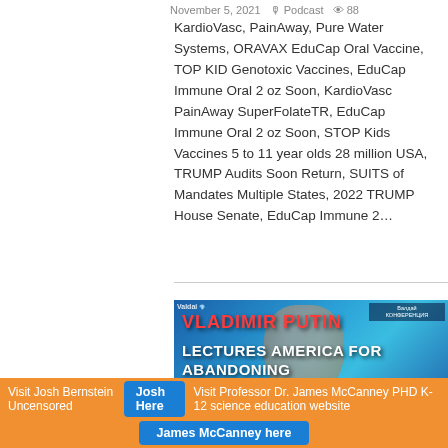KardioVasc, PainAway, Pure Water Systems, ORAVAX EduCap Oral Vaccine, TOP KID Genotoxic Vaccines, EduCap Immune Oral 2 oz Soon, KardioVasc PainAway SuperFolateTR, EduCap Immune Oral 2 oz Soon, STOP Kids Vaccines 5 to 11 year olds 28 million USA, TRUMP Audits Soon Return, SUITS of Mandates Multiple States, 2022 TRUMP House Senate, EduCap Immune 2...
[Figure (photo): Video thumbnail showing Vladimir Putin with text overlay: 'VLADIMIR PUTIN LECTURES AMERICA FOR ABANDONING ITS CHRISTIAN ROOTS' with Valdai logos in corners]
Visit Josh Bernstein Uncensored  Josh Here  Visit Professor Dr. James McCanney PHD K-12 science education website  James McCanney here